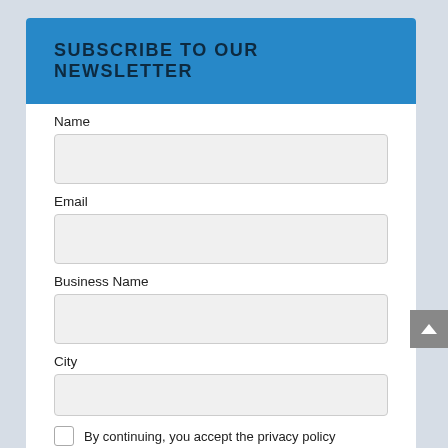SUBSCRIBE TO OUR NEWSLETTER
Name
Email
Business Name
City
By continuing, you accept the privacy policy
SUBSCRIBE